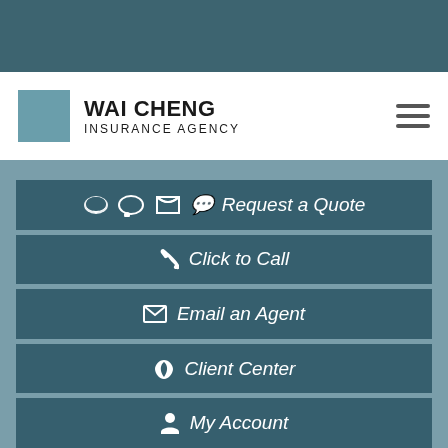[Figure (screenshot): Dark teal top navigation bar]
[Figure (logo): Wai Cheng Insurance Agency logo with teal square and text]
Request a Quote
Click to Call
Email an Agent
Client Center
My Account
Wai Cheng Insurance Agency (partial)